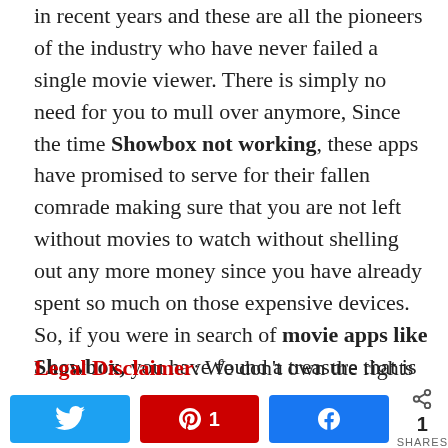in recent years and these are all the pioneers of the industry who have never failed a single movie viewer. There is simply no need for you to mull over anymore, Since the time Showbox not working, these apps have promised to serve for their fallen comrade making sure that you are not left without movies to watch without shelling out any more money since you have already spent so much on those expensive devices. So, if you were in search of movie apps like Showbox, you have found a treasure that is known to few and deserved by many.
Legal Disclaimer: We don't own the rights of the legality, privacy, and security of third party apps